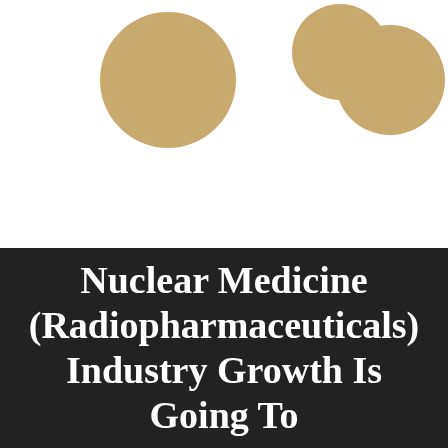[Figure (illustration): Two large golden/tan colored circles (quotation mark decorative element) on a white background. Left circle is solid, right side shows two overlapping circles forming a quotation mark shape.]
Nuclear Medicine (Radiopharmaceuticals) Industry Growth Is Going To